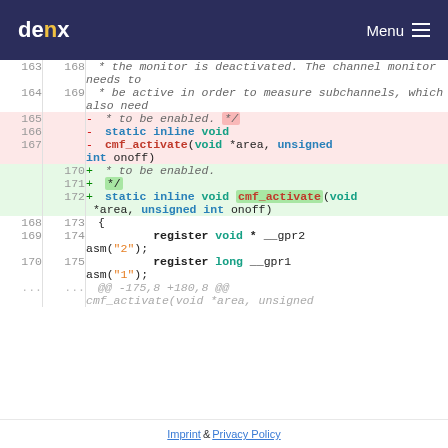denx  Menu
[Figure (screenshot): Code diff view showing changes to cmf_activate function. Lines 163-170 show existing code, lines 165-167 deleted (red background), lines 170-172 added (green background), followed by unchanged lines 168-170/173-175, then a meta diff line.]
Imprint & Privacy Policy